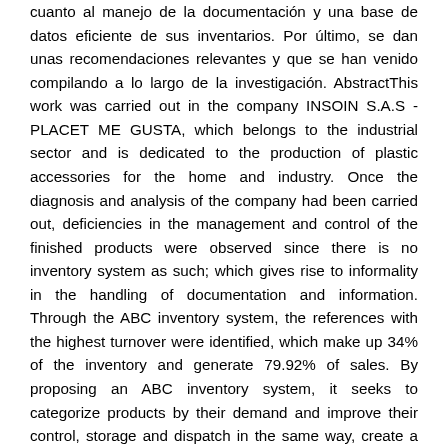cuanto al manejo de la documentación y una base de datos eficiente de sus inventarios. Por último, se dan unas recomendaciones relevantes y que se han venido compilando a lo largo de la investigación. AbstractThis work was carried out in the company INSOIN S.A.S -PLACET ME GUSTA, which belongs to the industrial sector and is dedicated to the production of plastic accessories for the home and industry. Once the diagnosis and analysis of the company had been carried out, deficiencies in the management and control of the finished products were observed since there is no inventory system as such; which gives rise to informality in the handling of documentation and information. Through the ABC inventory system, the references with the highest turnover were identified, which make up 34% of the inventory and generate 79.92% of sales. By proposing an ABC inventory system, it seeks to categorize products by their demand and improve their control, storage and dispatch in the same way, create a culture in terms of documentation management and an efficient database of their inventories. Finally, some relevant recommendations are given that have been compiled throughout the investigation.